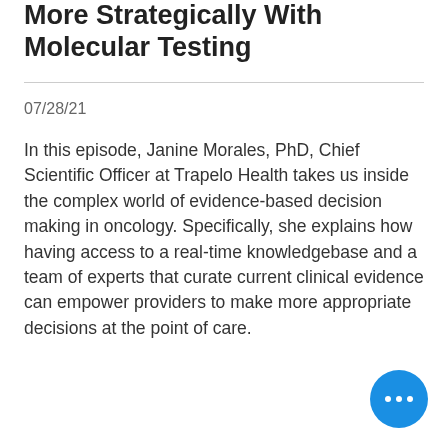More Strategically With Molecular Testing
07/28/21
In this episode, Janine Morales, PhD, Chief Scientific Officer at Trapelo Health takes us inside the complex world of evidence-based decision making in oncology. Specifically, she explains how having access to a real-time knowledgebase and a team of experts that curate current clinical evidence can empower providers to make more appropriate decisions at the point of care.